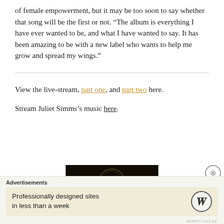of female empowerment, but it may be too soon to say whether that song will be the first or not. “The album is everything I have ever wanted to be, and what I have wanted to say. It has been amazing to be with a new label who wants to help me grow and spread my wings.”
View the live-stream, part one, and part two here.
Stream Juliet Simms’s music here.
[Figure (photo): Dark background image with a circular golden emblem or seal, partially visible at the bottom of the main content area]
Advertisements
Professionally designed sites in less than a week